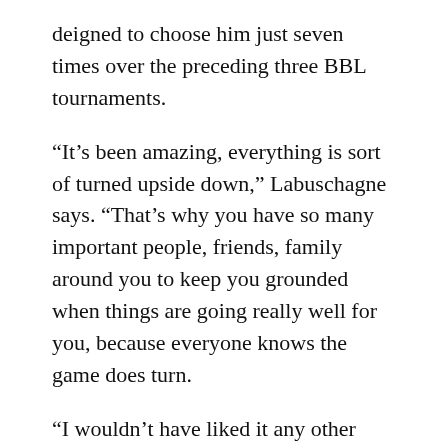deigned to choose him just seven times over the preceding three BBL tournaments.
“It’s been amazing, everything is sort of turned upside down,” Labuschagne says. “That’s why you have so many important people, friends, family around you to keep you grounded when things are going really well for you, because everyone knows the game does turn.
“I wouldn’t have liked it any other way. It really makes you work hard and appreciate things and it really grows that resilience to keep coming back when you get dropped or you’re not playing well. It really builds that sense that I’ve been here